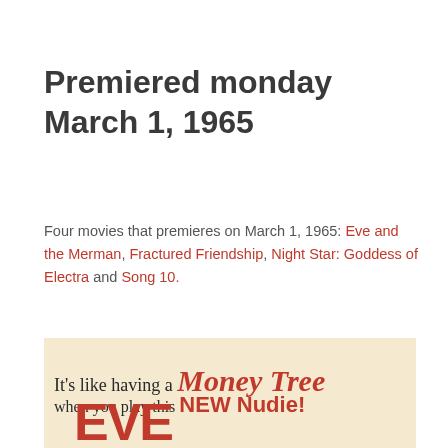Premiered monday March 1, 1965
Four movies that premieres on March 1, 1965: Eve and the Merman, Fractured Friendship, Night Star: Goddess of Electra and Song 10.
[Figure (illustration): Promotional poster for the movie 'Eve and the Merman' showing illustrated nude female and male figures with apples, and text reading: It's like having a MONEY TREE when you play this NEW Nudie! EVE]